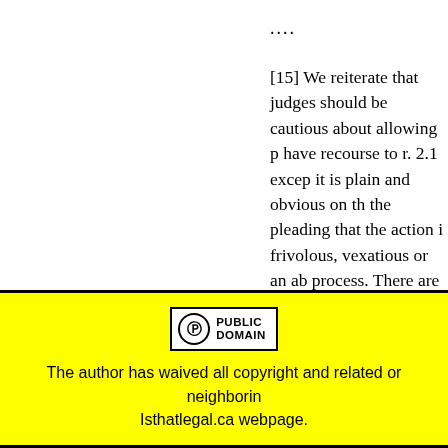....
[15] We reiterate that judges should be cautious about allowing parties to have recourse to r. 2.1 except where it is plain and obvious on the face of the pleading that the action is frivolous, vexatious or an abuse of process. There are many other remedies provided for in the Rules of Civil Procedure by which courts can deal with cases that are not plain on the face of the pleading.
[Figure (logo): Creative Commons Public Domain dedication badge — circle with CC zero symbol and text PUBLIC DOMAIN]
The author has waived all copyright and related or neighboring rights to this Isthatlegal.ca webpage.